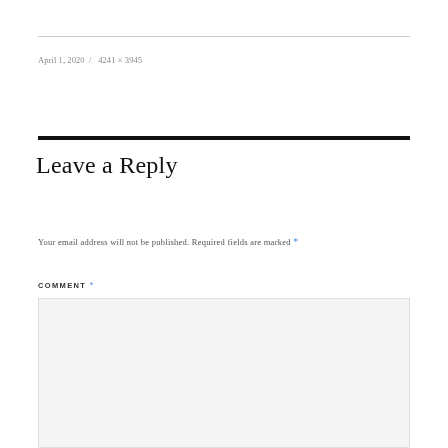April 1, 2020  /  4241 × 3945
Leave a Reply
Your email address will not be published. Required fields are marked *
COMMENT *